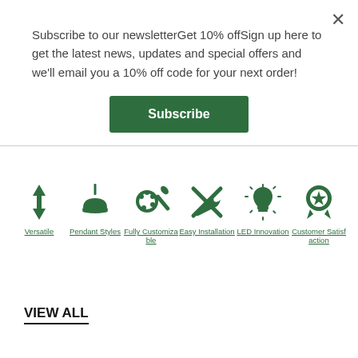Subscribe to our newsletterGet 10% offSign up here to get the latest news, updates and special offers and we'll email you a 10% off code for your next order!
[Figure (other): Subscribe button - green rectangle with white text 'Subscribe']
[Figure (infographic): Six green icons in a row: Versatile (up-down arrow), Pendant Styles (pendant lamp), Fully Customizable (paint palette and brush), Easy Installation (wrench and screwdriver), LED Innovation (lightbulb with rays), Customer Satisfaction (award ribbon with star)]
VIEW ALL